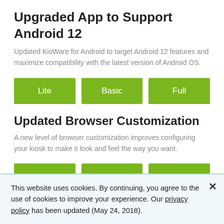Upgraded App to Support Android 12
Updated KioWare for Android to target Android 12 features and maximize compatibility with the latest version of Android OS.
[Figure (other): Three green badge buttons labeled Lite, Basic, Full]
Updated Browser Customization
A new level of browser customization improves configuring your kiosk to make it look and feel the way you want.
[Figure (other): Three green badge buttons partially visible at bottom of section]
This website uses cookies. By continuing, you agree to the use of cookies to improve your experience. Our privacy policy has been updated (May 24, 2018).